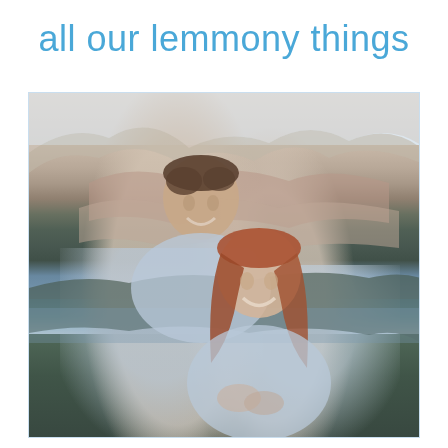all our lemmony things
[Figure (photo): A smiling couple outdoors with red rock canyon mountains in the background. The man stands behind the woman, both wearing light blue/grey sweaters. The woman has long auburn hair. The landscape behind them shows layered red sandstone cliffs, green trees, and a grey overcast sky.]